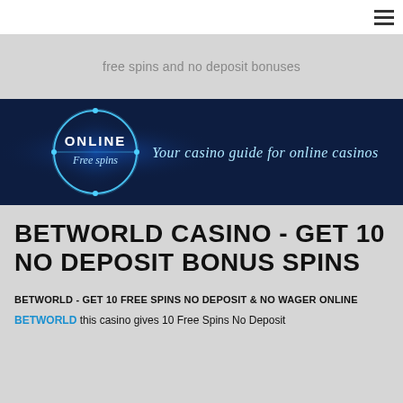≡
free spins and no deposit bonuses
[Figure (illustration): Online Free Spins casino banner with glowing circle logo on dark blue background and cursive text: Your casino guide for online casinos]
BETWORLD CASINO - GET 10 NO DEPOSIT BONUS SPINS
BETWORLD - GET 10 FREE SPINS NO DEPOSIT & NO WAGER ONLINE
BETWORLD this casino gives 10 Free Spins No Deposit